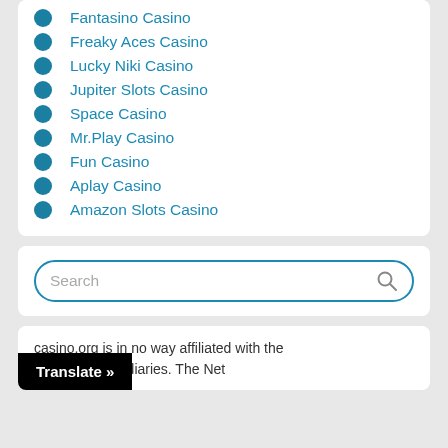Fantasino Casino
Freaky Aces Casino
Lucky Niki Casino
Jupiter Slots Casino
Space Casino
Mr.Play Casino
Fun Casino
Aplay Casino
Amazon Slots Casino
Search
casino.org is in no way affiliated with the any of its subsidiaries. The Net